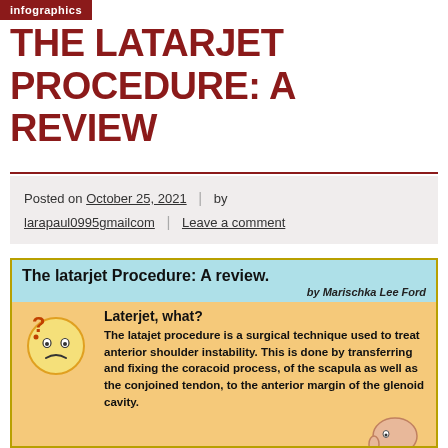infographics
THE LATARJET PROCEDURE: A REVIEW
Posted on October 25, 2021 | by larapaul0995gmailcom | Leave a comment
[Figure (infographic): Infographic titled 'The latarjet Procedure: A review.' by Marischka Lee Ford. Light blue header. Orange body with sections: 'Laterjet, what?' with confused emoji face and text: 'The latajet procedure is a surgical technique used to treat anterior shoulder instability. This is done by transferring and fixing the coracoid process, of the scapula as well as the conjoined tendon, to the anterior margin of the glenoid cavity.' Then 'Who gets this procedure?' with text beginning 'The latarjet procedure is recommened in patients' and partial illustration of a shoulder/head.]